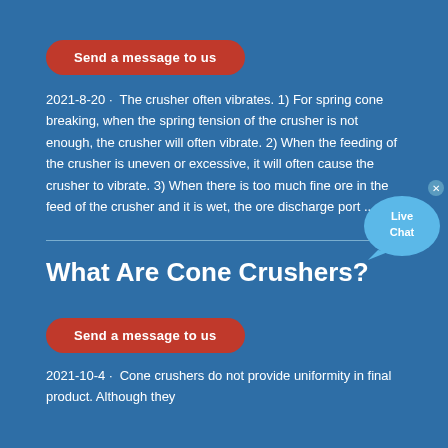Send a message to us
2021-8-20 · The crusher often vibrates. 1) For spring cone breaking, when the spring tension of the crusher is not enough, the crusher will often vibrate. 2) When the feeding of the crusher is uneven or excessive, it will often cause the crusher to vibrate. 3) When there is too much fine ore in the feed of the crusher and it is wet, the ore discharge port ....
[Figure (illustration): Live Chat bubble widget with close button]
What Are Cone Crushers?
Send a message to us
2021-10-4 · Cone crushers do not provide uniformity in final product. Although they